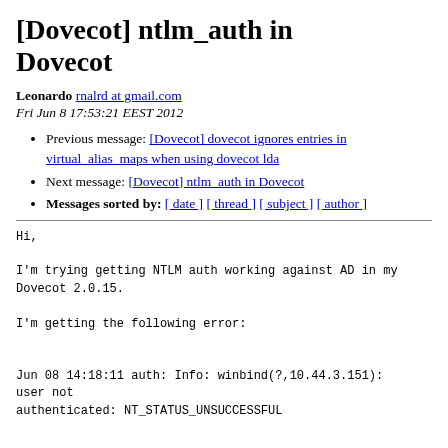[Dovecot] ntlm_auth in Dovecot
Leonardo rnalrd at gmail.com
Fri Jun 8 17:53:21 EEST 2012
Previous message: [Dovecot] dovecot ignores entries in virtual_alias_maps when using dovecot lda
Next message: [Dovecot] ntlm_auth in Dovecot
Messages sorted by: [ date ] [ thread ] [ subject ] [ author ]
Hi,

I'm trying getting NTLM auth working against AD in my Dovecot 2.0.15.

I'm getting the following error:


Jun 08 14:18:11 auth: Info: winbind(?,10.44.3.151): user not
authenticated: NT_STATUS_UNSUCCESSFUL